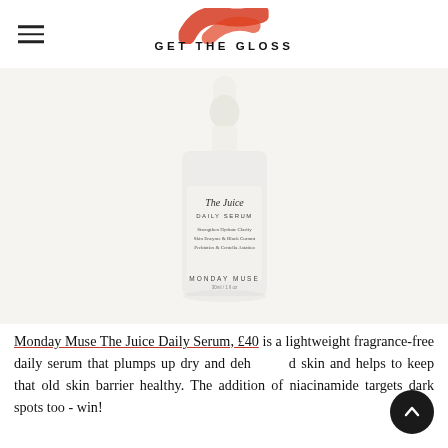GET THE GLOSS
[Figure (photo): Monday Muse The Juice Daily Serum bottle with white dropper cap on light background. Label reads: The Juice DAILY SERUM, Strengthen Hydrate Clarify, Skin Enzyme & Black Currant, Prebiotics & Centella Asiatica. MONDAY MUSE 30ml/1fl oz.]
Monday Muse The Juice Daily Serum,  £40 is a lightweight fragrance-free daily serum that plumps up dry and dehydrated skin and helps to keep that old skin barrier healthy. The addition of niacinamide targets dark spots too - win!